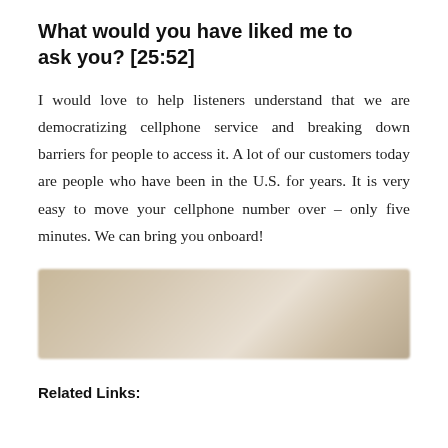What would you have liked me to ask you? [25:52]
I would love to help listeners understand that we are democratizing cellphone service and breaking down barriers for people to access it. A lot of our customers today are people who have been in the U.S. for years. It is very easy to move your cellphone number over – only five minutes. We can bring you onboard!
[Figure (photo): Blurred/redacted rectangular image, brownish-tan gradient color, likely a linked image or advertisement that has been obscured.]
Related Links: